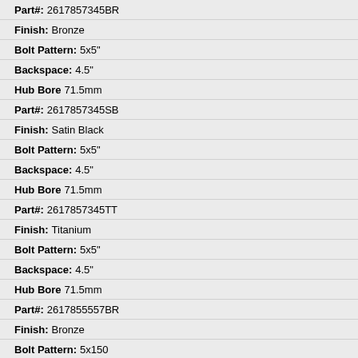Part#: 2617857345BR
Finish: Bronze
Bolt Pattern: 5x5"
Backspace: 4.5"
Hub Bore 71.5mm
Part#: 2617857345SB
Finish: Satin Black
Bolt Pattern: 5x5"
Backspace: 4.5"
Hub Bore 71.5mm
Part#: 2617857345TT
Finish: Titanium
Bolt Pattern: 5x5"
Backspace: 4.5"
Hub Bore 71.5mm
Part#: 2617855557BR
Finish: Bronze
Bolt Pattern: 5x150
Backspace: 5.75"
Hub Bore 110.1mm